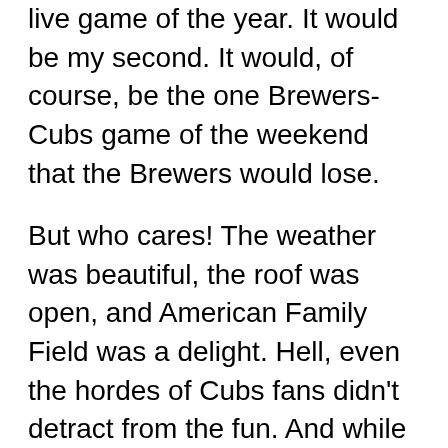(…) live game of the year. It would be my second. It would, of course, be the one Brewers-Cubs game of the weekend that the Brewers would lose.
But who cares! The weather was beautiful, the roof was open, and American Family Field was a delight. Hell, even the hordes of Cubs fans didn't detract from the fun. And while the ballpark provides oodles of game-adjacent activities and diversions (bless you, Sausage Races), there's something to be said for just sitting in your seats and watching a three-hour baseball game. The way the game ebbs and flows. The way the shadow of the stadium slowly makes its way across the field. The way everything else seems to melt away and your entire attention is given over to the game in front of you. It's pretty